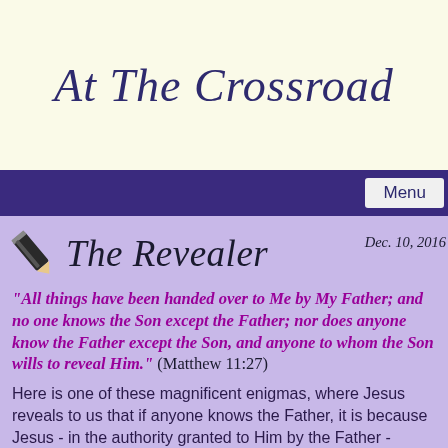At The Crossroad
Menu
The Revealer    Dec. 10, 2016
“All things have been handed over to Me by My Father; and no one knows the Son except the Father; nor does anyone know the Father except the Son, and anyone to whom the Son wills to reveal Him.” (Matthew 11:27)
Here is one of these magnificent enigmas, where Jesus reveals to us that if anyone knows the Father, it is because Jesus - in the authority granted to Him by the Father - bestows this